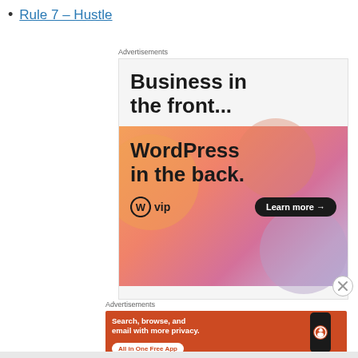Rule 7 – Hustle
[Figure (other): WordPress VIP advertisement: 'Business in the front... WordPress in the back.' with Learn more button on gradient orange-pink-purple background]
[Figure (other): DuckDuckGo advertisement: 'Search, browse, and email with more privacy. All in One Free App' with DuckDuckGo logo and phone image on orange/red background]